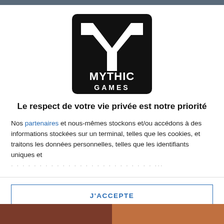[Figure (logo): Mythic Games logo — black square with white stylized M/Y letter mark above the text MYTHIC GAMES in white]
Le respect de votre vie privée est notre priorité
Nos partenaires et nous-mêmes stockons et/ou accédons à des informations stockées sur un terminal, telles que les cookies, et traitons les données personnelles, telles que les identifiants uniques et les informations standards envoyées par chaque terminal pour...